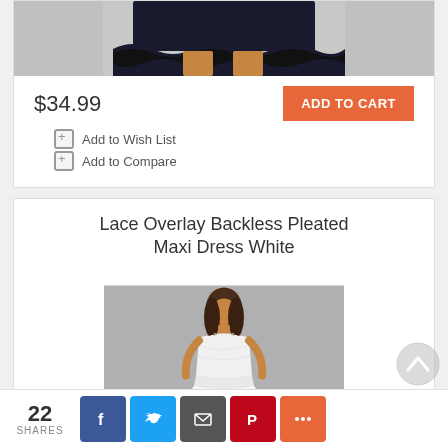[Figure (photo): Partial view of a black ruffle mini dress on a model, cropped at top of image]
$34.99
ADD TO CART
Add to Wish List
Add to Compare
Lace Overlay Backless Pleated Maxi Dress White
[Figure (photo): A model wearing a white lace overlay backless pleated maxi dress against a grey background]
22 SHARES  [Facebook] [Twitter] [Email] [Pinterest] [More]